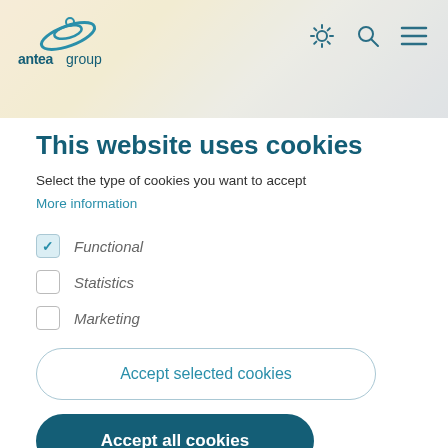[Figure (screenshot): Antea Group website header banner with blurred background showing warm tones, with logo top-left and navigation icons (gear, search, menu) top-right]
This website uses cookies
Select the type of cookies you want to accept
More information
Functional (checked)
Statistics (unchecked)
Marketing (unchecked)
Accept selected cookies
Accept all cookies